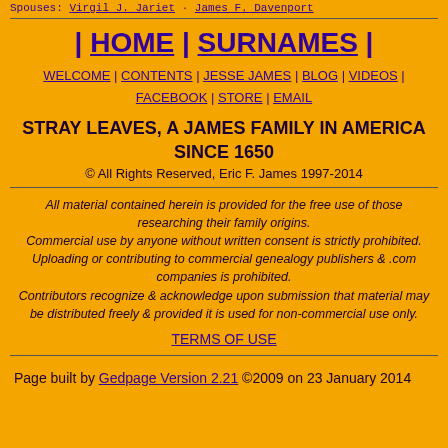Spouses: Virgil J. Jariet · James F. Davenport
| HOME | SURNAMES |
WELCOME | CONTENTS | JESSE JAMES | BLOG | VIDEOS | FACEBOOK | STORE | EMAIL
STRAY LEAVES, A JAMES FAMILY IN AMERICA SINCE 1650
© All Rights Reserved, Eric F. James 1997-2014
All material contained herein is provided for the free use of those researching their family origins. Commercial use by anyone without written consent is strictly prohibited. Uploading or contributing to commercial genealogy publishers & .com companies is prohibited. Contributors recognize & acknowledge upon submission that material may be distributed freely & provided it is used for non-commercial use only.
TERMS OF USE
Page built by Gedpage Version 2.21 ©2009 on 23 January 2014